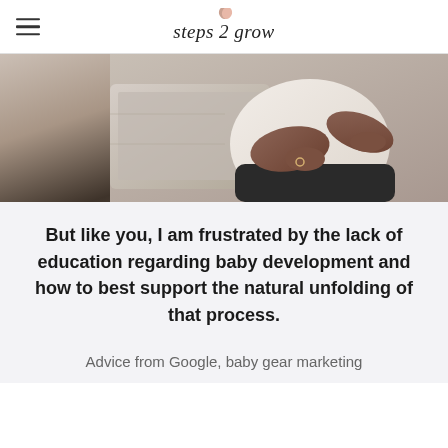steps 2 grow
[Figure (photo): Pregnant woman in white sweater sitting on couch with laptop, holding her belly with both hands, wearing a ring]
But like you, I am frustrated by the lack of education regarding baby development and how to best support the natural unfolding of that process.
Advice from Google, baby gear marketing